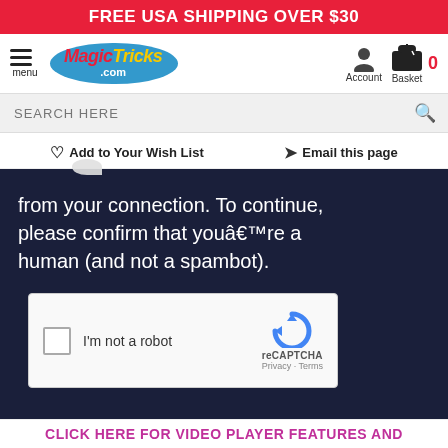FREE USA SHIPPING OVER $30
[Figure (logo): MagicTricks.com logo in blue oval with red and yellow text, hamburger menu icon, Account and Basket icons]
SEARCH HERE
♡ Add to Your Wish List   ✉ Email this page
[Figure (screenshot): Dark navy background with white text reading 'from your connection. To continue, please confirm that youâre a human (and not a spambot).' and a reCAPTCHA widget with 'I'm not a robot' checkbox]
CLICK HERE FOR VIDEO PLAYER FEATURES AND